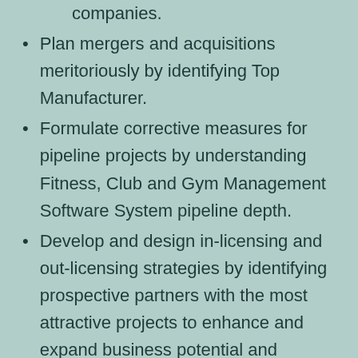companies.
Plan mergers and acquisitions meritoriously by identifying Top Manufacturer.
Formulate corrective measures for pipeline projects by understanding Fitness, Club and Gym Management Software System pipeline depth.
Develop and design in-licensing and out-licensing strategies by identifying prospective partners with the most attractive projects to enhance and expand business potential and Scope.